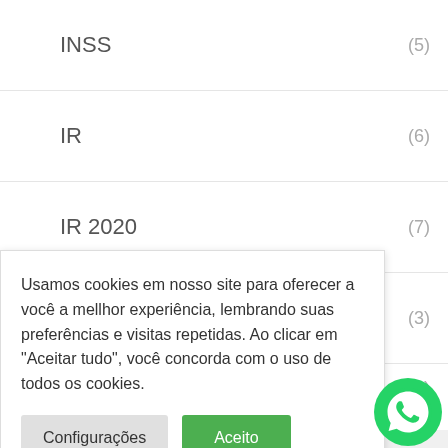INSS (5)
IR (6)
IR 2020 (7)
IRPF (3)
(1)
(2)
(1)
(1)
Usamos cookies em nosso site para oferecer a você a mellhor experiência, lembrando suas preferências e visitas repetidas. Ao clicar em "Aceitar tudo", você concorda com o uso de todos os cookies.
Configurações
Aceito